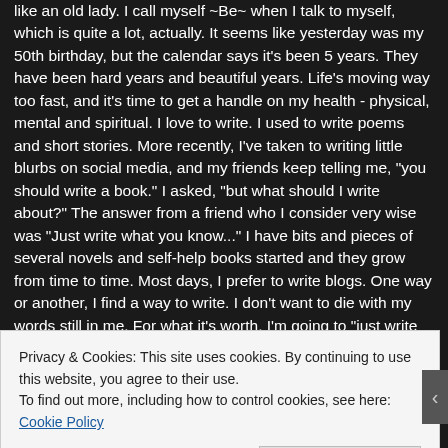like an old lady. I call myself ~Be~ when I talk to myself, which is quite a lot, actually. It seems like yesterday was my 50th birthday, but the calendar says it's been 5 years. They have been hard years and beautiful years. Life's moving way too fast, and it's time to get a handle on my health - physical, mental and spiritual. I love to write. I used to write poems and short stories. More recently, I've taken to writing little blurbs on social media, and my friends keep telling me, "you should write a book." I asked, "but what should I write about?" The answer from a friend who I consider very wise was "Just write what you know..." I have bits and pieces of several novels and self-help books started and they grow from time to time. Most days, I prefer to write blogs. One way or another, I find a way to write. I don't want to die with my words still in me. For what it's worth, I'm going to "just write what [I] know." I live in a beautiful city on the shores of Lake Erie, where I'm a lawyer by trade. Being a lawyer allows me to be a helper, and being a helper is where I find my joy. I'm a wife, mom, stepmom and grandma. I have two dogs. My mom
Privacy & Cookies: This site uses cookies. By continuing to use this website, you agree to their use.
To find out more, including how to control cookies, see here: Cookie Policy
Close and accept